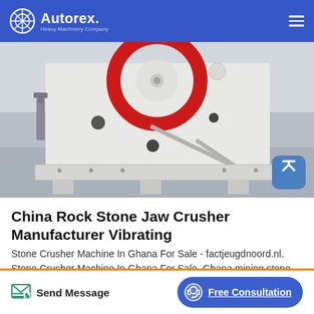Autorex Heavy Machinery Company
[Figure (photo): Close-up photograph of a white jaw crusher machine with a red circular flywheel visible at the top, showing structural beams, holes, and mounting base in an industrial setting.]
China Rock Stone Jaw Crusher Manufacturer Vibrating
Stone Crusher Machine In Ghana For Sale - factjeugdnoord.nl. Stone Crusher Machine In Ghana For Sale. Ghana mining stone crusher sale - stone crushing machinesed small stone crusher for
Send Message | Free Consultation